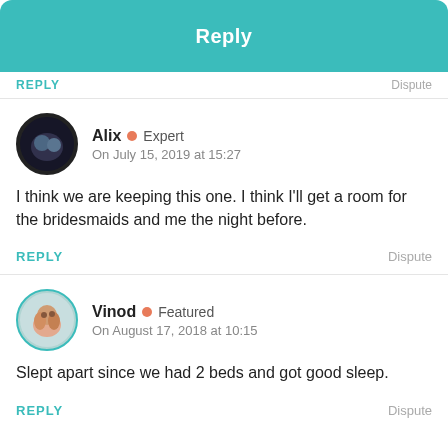[Figure (other): Teal Reply button bar at top]
REPLY   Dispute
[Figure (photo): Alix avatar - dark circular profile photo of couple]
Alix • Expert
On July 15, 2019 at 15:27
I think we are keeping this one. I think I'll get a room for the bridesmaids and me the night before.
REPLY   Dispute
[Figure (photo): Vinod avatar - circular profile photo with teal border]
Vinod • Featured
On August 17, 2018 at 10:15
Slept apart since we had 2 beds and got good sleep.
REPLY   Dispute